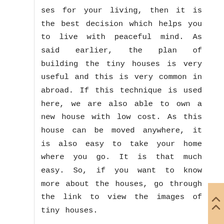ses for your living, then it is the best decision which helps you to live with peaceful mind. As said earlier, the plan of building the tiny houses is very useful and this is very common in abroad. If this technique is used here, we are also able to own a new house with low cost. As this house can be moved anywhere, it is also easy to take your home where you go. It is that much easy. So, if you want to know more about the houses, go through the link to view the images of tiny houses.
If you are really looking for the tiny home in internet, then here is the right thing to search for it. In actually many people are